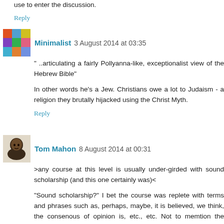use to enter the discussion.
Reply
Minimalist  3 August 2014 at 03:35
" ..articulating a fairly Pollyanna-like, exceptionalist view of the Hebrew Bible"
In other words he's a Jew. Christians owe a lot to Judaism - a religion they brutally hijacked using the Christ Myth.
Reply
Tom Mahon  8 August 2014 at 00:31
>any course at this level is usually under-girded with sound scholarship (and this one certainly was)<
"Sound scholarship?" I bet the course was replete with terms and phrases such as, perhaps, maybe, it is believed, we think, the consenous of opinion is, etc., etc. Not to memtion the inevitable speculations, suspositions, and